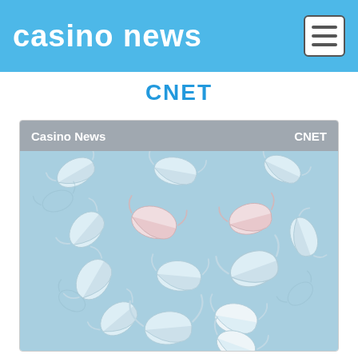casino news
CNET
[Figure (screenshot): A card/panel with a gray header bar showing 'Casino News' on the left and 'CNET' on the right, below which is a light blue image showing multiple surgical/medical face masks floating in different orientations against a light blue background.]